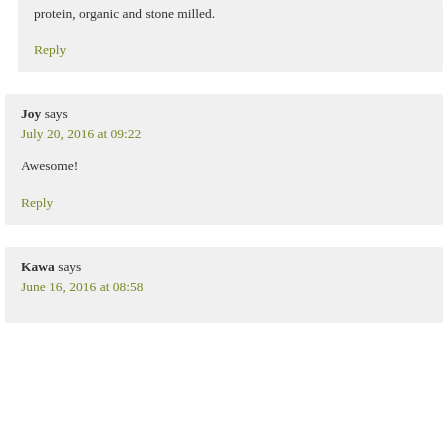protein, organic and stone milled.
Reply
Joy says
July 20, 2016 at 09:22
Awesome!
Reply
Kawa says
June 16, 2016 at 08:58